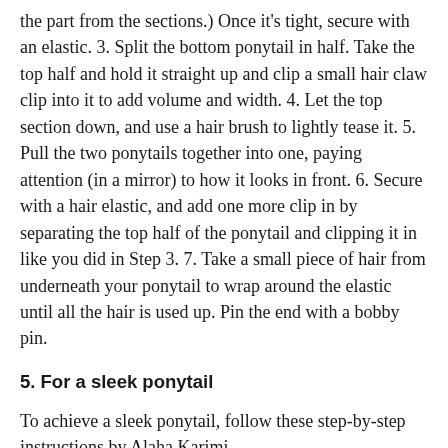the part from the sections.) Once it's tight, secure with an elastic. 3. Split the bottom ponytail in half. Take the top half and hold it straight up and clip a small hair claw clip into it to add volume and width. 4. Let the top section down, and use a hair brush to lightly tease it. 5. Pull the two ponytails together into one, paying attention (in a mirror) to how it looks in front. 6. Secure with a hair elastic, and add one more clip in by separating the top half of the ponytail and clipping it in like you did in Step 3. 7. Take a small piece of hair from underneath your ponytail to wrap around the elastic until all the hair is used up. Pin the end with a bobby pin.
5. For a sleek ponytail
To achieve a sleek ponytail, follow these step-by-step instructions by Alaha Karimi .
1. Run gel throughout your hair, being careful to tame